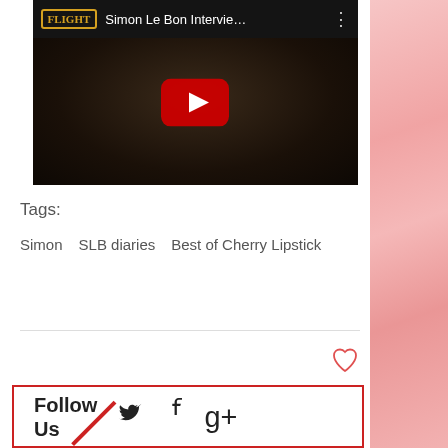[Figure (screenshot): YouTube video thumbnail showing Simon Le Bon interview with play button overlay and video title bar]
Tags:
Simon
SLB diaries
Best of Cherry Lipstick
[Figure (illustration): Heart/like icon outline in coral/red color]
Follow Us